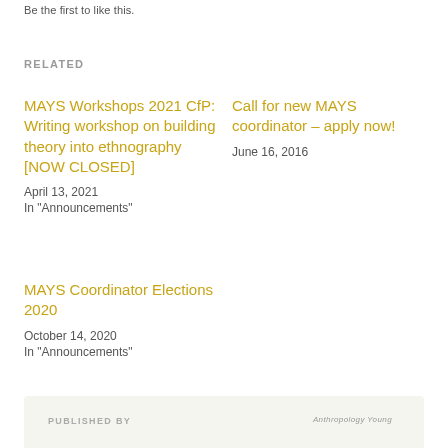Be the first to like this.
RELATED
MAYS Workshops 2021 CfP: Writing workshop on building theory into ethnography [NOW CLOSED]
April 13, 2021
In "Announcements"
Call for new MAYS coordinator – apply now!
June 16, 2016
MAYS Coordinator Elections 2020
October 14, 2020
In "Announcements"
PUBLISHED BY  Anthropology Young